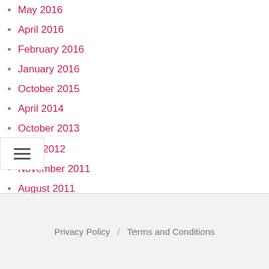May 2016
April 2016
February 2016
January 2016
October 2015
April 2014
October 2013
June 2012
November 2011
August 2011
Privacy Policy / Terms and Conditions